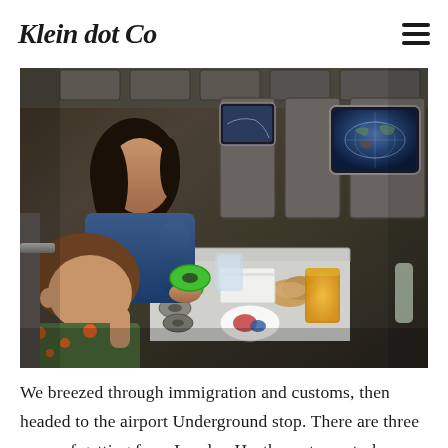Klein dot Co
[Figure (photo): Woman and toddler on an airplane. The woman in a blue top is sitting in an economy seat helping a young child who is holding a roll of green tape. There is food on the tray table including muffins and orange juice. An in-flight entertainment screen showing a world map is visible in the background.]
We breezed through immigration and customs, then headed to the airport Underground stop. There are three ways of getting from London Heathrow to central London, and they all take about the same amount of time (40ish minutes depending on where in